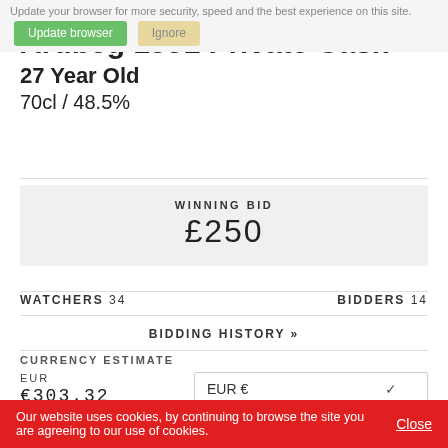Update your browser for more security, speed and the best experience on this site. [Update browser] [Ignore]
Ardbeg 1991 Private Cask
27 Year Old
70cl / 48.5%
WINNING BID
£250
WATCHERS 34    BIDDERS 14
BIDDING HISTORY »
CURRENCY ESTIMATE
EUR
€303.32
[Figure (photo): Bottle of Ardbeg 1991 Private Cask whisky, partially visible at bottom of page]
Our website uses cookies, by continuing to browse the site you are agreeing to our use of cookies. Close